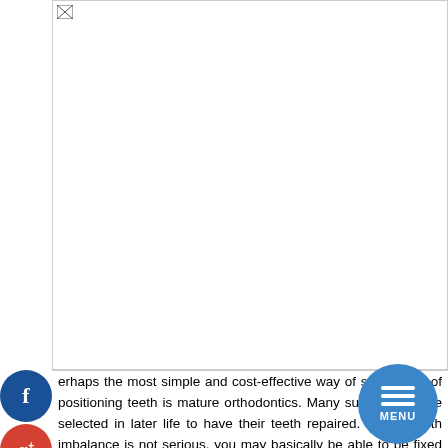[Figure (photo): Large image placeholder occupying the upper portion of the page, with a small broken image icon in the top-left corner]
[Figure (illustration): Social media icons column on the left: Facebook (blue), Google+ (red), Twitter (light blue), and a plus/add button (blue)]
[Figure (illustration): Circular menu button with horizontal lines and MENU text, positioned on the right side]
Perhaps the most simple and cost-effective way of solving out of positioning teeth is mature orthodontics. Many superstars have selected in later life to have their teeth repaired. If your teeth imbalance is not serious, you may basically be able to be fixed for